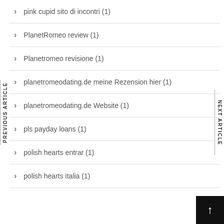pink cupid sito di incontri (1)
PlanetRomeo review (1)
Planetromeo revisione (1)
planetromeodating.de meine Rezension hier (1)
planetromeodating.de Website (1)
pls payday loans (1)
polish hearts entrar (1)
polish hearts italia (1)